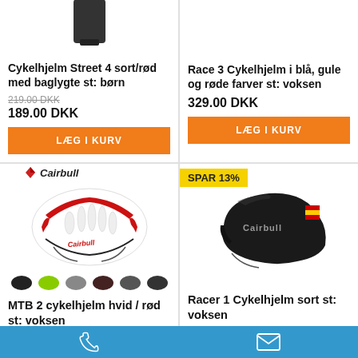[Figure (photo): Partial view of a dark bicycle accessory (top cropped)]
[Figure (photo): Empty white area for top-right product image]
Cykelhjelm Street 4 sort/rød med baglygte st: børn
219.00 DKK (strikethrough) 189.00 DKK
LÆG I KURV
Race 3 Cykelhjelm i blå, gule og røde farver st: voksen
329.00 DKK
LÆG I KURV
[Figure (photo): White and red Cairbull MTB bike helmet with color variants shown below]
[Figure (photo): Black Cairbull Racer 1 bike helmet with SPAR 13% badge]
MTB 2 cykelhjelm hvid / rød st: voksen
Racer 1 Cykelhjelm sort st: voksen
Phone and email contact icons on blue bar